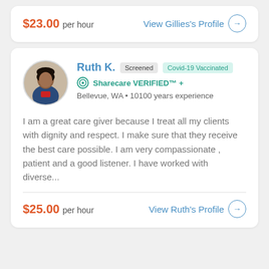$23.00 per hour
View Gillies's Profile →
Ruth K.   Screened   Covid-19 Vaccinated
Sharecare VERIFIED™ +
Bellevue, WA • 10100 years experience
I am a great care giver because I treat all my clients with dignity and respect. I make sure that they receive the best care possible. I am very compassionate , patient and a good listener. I have worked with diverse...
$25.00 per hour
View Ruth's Profile →